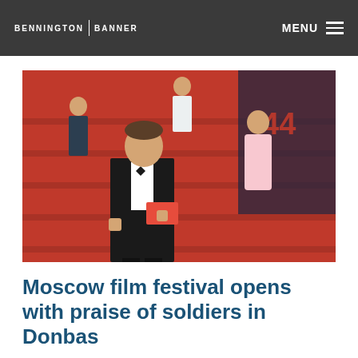BENNINGTON BANNER  MENU
[Figure (photo): Man in black tuxedo with bow tie holding a red folder, standing on red carpet stairs at a film festival. Other attendees visible in background including a woman in a pink dress. Red carpet event signage visible.]
Moscow film festival opens with praise of soldiers in Donbas